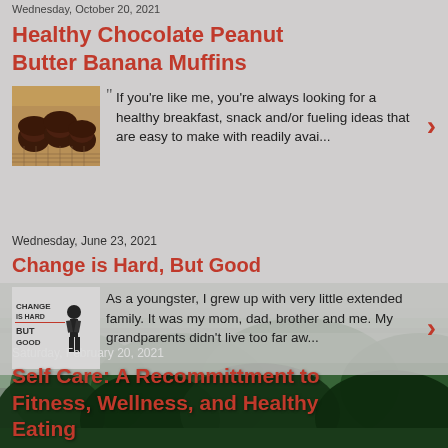Wednesday, October 20, 2021
Healthy Chocolate Peanut Butter Banana Muffins
[Figure (photo): Photo of chocolate muffins on a cooling rack]
If you're like me, you're always looking for a healthy breakfast, snack and/or fueling ideas that are easy to make with readily avai...
Wednesday, June 23, 2021
Change is Hard, But Good
[Figure (photo): Motivational image with text CHANGE IS HARD BUT GOOD and a person standing]
As a youngster, I grew up with very little extended family. It was my mom, dad, brother and me. My grandparents didn't live too far aw...
Saturday, February 20, 2021
Self Care: A Recommittment to Fitness, Wellness, and Healthy Eating